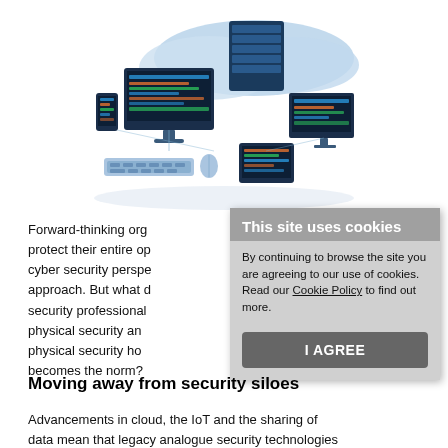[Figure (illustration): Isometric illustration of cloud computing and cybersecurity devices including monitors, servers, tablets, mobile phone, keyboard and mouse connected by network lines in blue tones]
Forward-thinking org... protect their entire op... cyber security perspe... approach. But what d... security professional... physical security an... physical security ho... becomes the norm?
[Figure (screenshot): Cookie consent overlay with title 'This site uses cookies', body text 'By continuing to browse the site you are agreeing to our use of cookies. Read our Cookie Policy to find out more.' and an 'I AGREE' button]
Moving away from security siloes
Advancements in cloud, the IoT and the sharing of data mean that legacy analogue security technologies